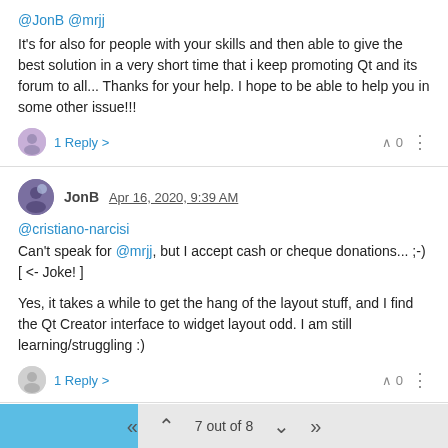@JonB @mrjj It's for also for people with your skills and then able to give the best solution in a very short time that i keep promoting Qt and its forum to all... Thanks for your help. I hope to be able to help you in some other issue!!!
1 Reply  0
JonB  Apr 16, 2020, 9:39 AM
@cristiano-narcisi Can't speak for @mrjj, but I accept cash or cheque donations... ;-) [ <- Joke! ]

Yes, it takes a while to get the hang of the layout stuff, and I find the Qt Creator interface to widget layout odd. I am still learning/struggling :)
1 Reply  0
cristiano.narcisi  Apr 17, 2020, 10:37 AM
7 out of 8